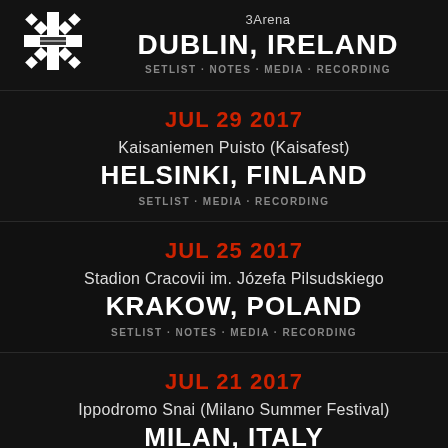3Arena
[Figure (logo): White snowflake/asterisk logo symbol]
DUBLIN, IRELAND
SETLIST · NOTES · MEDIA · RECORDING
JUL 29 2017
Kaisaniemen Puisto (Kaisafest)
HELSINKI, FINLAND
SETLIST · MEDIA · RECORDING
JUL 25 2017
Stadion Cracovii im. Józefa Pilsudskiego
KRAKOW, POLAND
SETLIST · NOTES · MEDIA · RECORDING
JUL 21 2017
Ippodromo Snai (Milano Summer Festival)
MILAN, ITALY